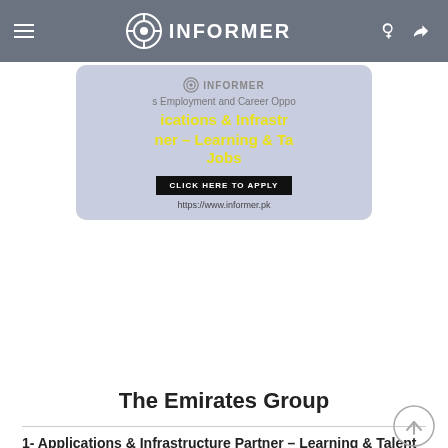INFORMER
[Figure (infographic): Ad card showing Informer.pk logo and text: Employment and Career Opportunities – Applications & Infrastructure Partner – Learning & Talent Jobs. Black button: CLICK HERE TO APPLY. URL: https://www.informer.pk]
The Emirates Group
1- Applications & Infrastructure Partner – Learning & Talent
Job: Full Time
Location: Dubai, UAE
Description:
In this role you will work along side our Learning and